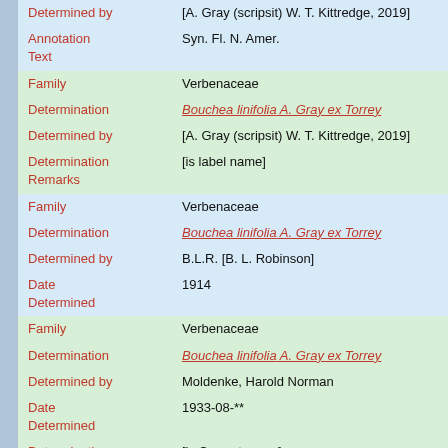| Field | Value |
| --- | --- |
| Determined by | [A. Gray (scripsit) W. T. Kittredge, 2019] |
| Annotation Text | Syn. Fl. N. Amer. |
| Family | Verbenaceae |
| Determination | Bouchea linifolia A. Gray ex Torrey |
| Determined by | [A. Gray (scripsit) W. T. Kittredge, 2019] |
| Determination Remarks | [is label name] |
| Family | Verbenaceae |
| Determination | Bouchea linifolia A. Gray ex Torrey |
| Determined by | B.L.R. [B. L. Robinson] |
| Date Determined | 1914 |
| Family | Verbenaceae |
| Determination | Bouchea linifolia A. Gray ex Torrey |
| Determined by | Moldenke, Harold Norman |
| Date Determined | 1933-08-** |
| Determination Remarks | [is Current name] |
| Annotation Text | Cotype! |